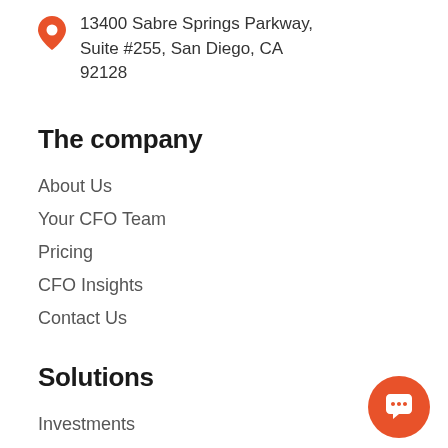13400 Sabre Springs Parkway, Suite #255, San Diego, CA 92128
The company
About Us
Your CFO Team
Pricing
CFO Insights
Contact Us
Solutions
Investments
CFO Services